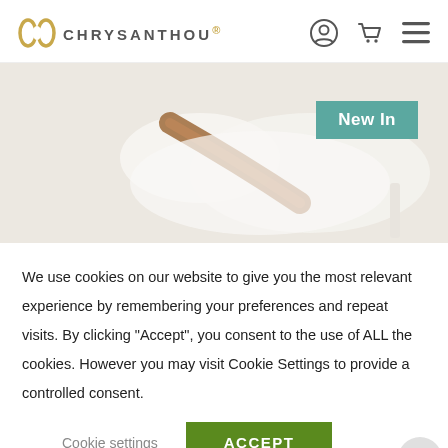CHRYSANTHOU
[Figure (photo): Close-up photo of a white high-heel shoe with brown strap detail against a light background. A teal 'New In' badge is overlaid in the upper right of the image.]
We use cookies on our website to give you the most relevant experience by remembering your preferences and repeat visits. By clicking “Accept”, you consent to the use of ALL the cookies. However you may visit Cookie Settings to provide a controlled consent.
Cookie settings   ACCEPT